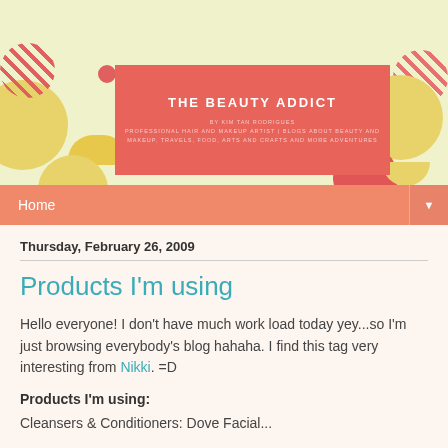[Figure (illustration): Blog header banner with decorative colorful circles, stripes, and geometric shapes on a light yellow-green background, with a coral/salmon colored rectangle in the center containing the blog title and subtitle.]
THE BEAUTY ADDICT
BY KIM TAN RODRIGUES
PROFESSIONAL HAIR AND MAKEUP ARTIST | BLOGS ABOUT BEAUTY AND MAKEUP, TRAVELS, FOOD, ARTS AND CRAFTS AND MORE ADVENTURES
Home
Thursday, February 26, 2009
Products I'm using
Hello everyone! I don't have much work load today yey...so I'm just browsing everybody's blog hahaha. I find this tag very interesting from Nikki. =D
Products I'm using:
Cleansers & Conditioners: Dove Facial...